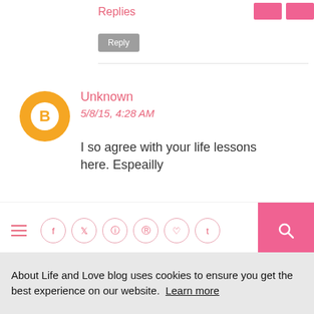Replies
Reply
Unknown
5/8/15, 4:28 AM
I so agree with your life lessons here. Espeailly
[Figure (screenshot): Navigation bar with hamburger menu, social media icons (Facebook, Twitter, Instagram, Pinterest, heart, Tumblr), and pink search button]
About Life and Love blog uses cookies to ensure you get the best experience on our website. Learn more
Got it!